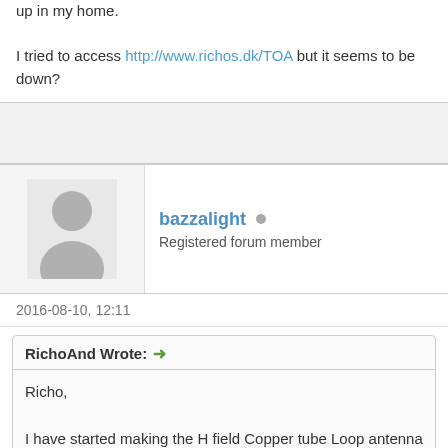up in my home.

I tried to access http://www.richos.dk/TOA but it seems to be down?
bazzalight — Registered forum member
2016-08-10, 12:11
RichoAnd Wrote: Richo, I have started making the H field Copper tube Loop antenna shown http://users.skynet.be/DanielV37/Project...m#Hardware. I have pro and have published these files at http://www.thingiverse.com/thing:... Can you have a quick look at this url and advise if any further attrib